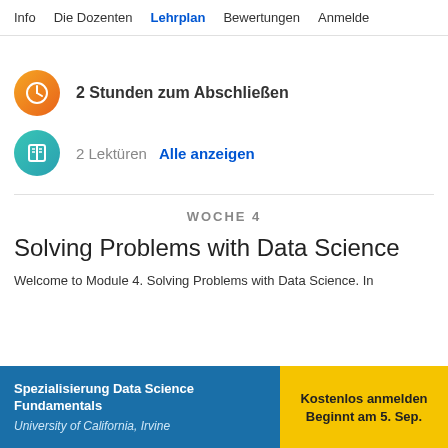Info  Die Dozenten  Lehrplan  Bewertungen  Anmelde
2 Stunden zum Abschließen
2 Lektüren  Alle anzeigen
WOCHE 4
Solving Problems with Data Science
Welcome to Module 4. Solving Problems with Data Science. In
Spezialisierung Data Science Fundamentals
University of California, Irvine
Kostenlos anmelden
Beginnt am 5. Sep.